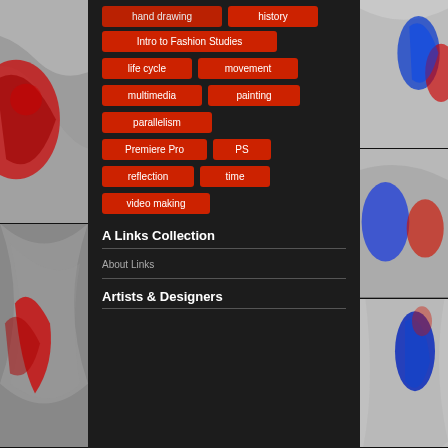[Figure (illustration): Left strip top: black and white marble texture with red abstract figure/shape overlay]
[Figure (illustration): Left strip bottom: swirling marble texture with red organic shape overlay]
hand drawing
history
Intro to Fashion Studies
life cycle
movement
multimedia
painting
parallelism
Premiere Pro
PS
reflection
time
video making
A Links Collection
About Links
Artists & Designers
[Figure (illustration): Right strip top: marble texture with blue and red human figures]
[Figure (illustration): Right strip middle: marble texture with blue and red fighting figures]
[Figure (illustration): Right strip bottom: marble texture with blue running figure and red accent]